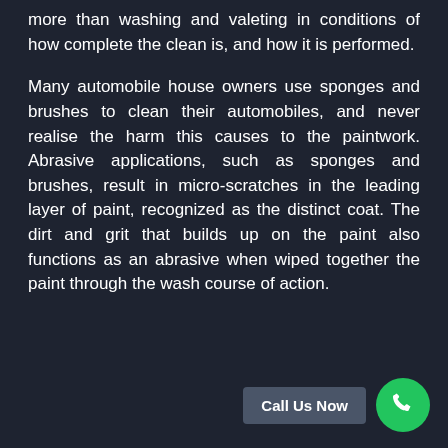more than washing and valeting in conditions of how complete the clean is, and how it is performed.
Many automobile house owners use sponges and brushes to clean their automobiles, and never realise the harm this causes to the paintwork. Abrasive applications, such as sponges and brushes, result in micro-scratches in the leading layer of paint, recognized as the distinct coat. The dirt and grit that builds up on the paint also functions as an abrasive when wiped together the paint through the wash course of action.